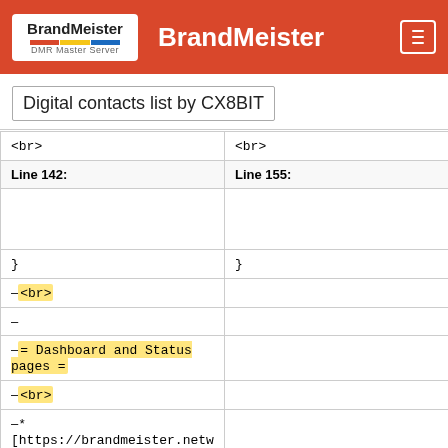BrandMeister
Digital contacts list by CX8BIT
|  |  |
| --- | --- |
| <br> | <br> |
| Line 142: | Line 155: |
|  |  |
| } | } |
| -<br> |  |
| - |  |
| -= Dashboard and Status pages = |  |
| -<br> |  |
| -* [https://brandmeister.netwo |  |